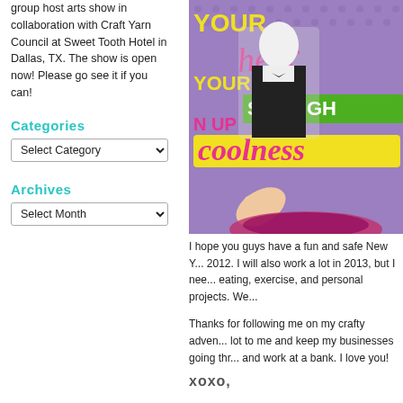group host arts show in collaboration with Craft Yarn Council at Sweet Tooth Hotel in Dallas, TX. The show is open now! Please go see it if you can!
Categories
Select Category
Archives
Select Month
[Figure (photo): A colorful greeting card or poster held by a hand, featuring a black-and-white illustration of a young man in a tuxedo with a bow tie, surrounded by bright pop-art style text in pink, yellow, and green reading 'YOUR heart YOUR STRAiGHT N UP coolness' on a purple polka-dot background.]
I hope you guys have a fun and safe New Y... 2012. I will also work a lot in 2013, but I nee... eating, exercise, and personal projects. We...
Thanks for following me on my crafty adven... lot to me and keep my businesses going thr... and work at a bank. I love you!
xoxo,